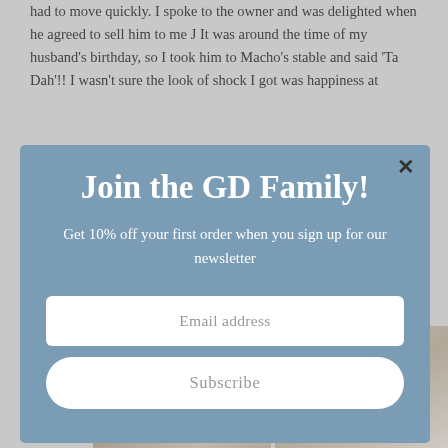had to move quickly. I spoke to the owner and was delighted when he agreed to sell him to me J It was around the time of my husband's birthday, so I took him to Macho's stable and said 'Ta Dah'!! I wasn't sure the look of shock I got was happiness at
[Figure (screenshot): Modal popup overlay with blue-grey background. Title: 'Join the GD Family!'. Subtitle: 'Get 10% off your first order when you sign up for our newsletter'. Email address input field. Subscribe button. Close X in top right corner.]
[Figure (photo): Two side-by-side photographs of a person, partially visible at the bottom of the page.]